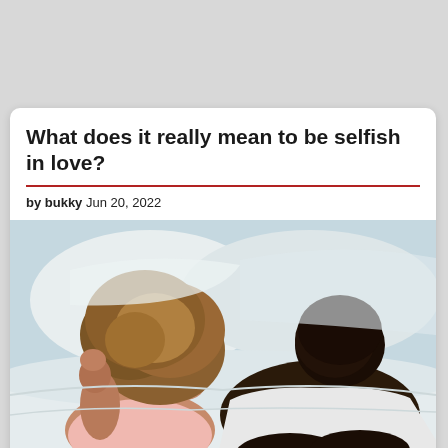What does it really mean to be selfish in love?
by bukky Jun 20, 2022
[Figure (photo): A couple lying in bed back-to-back, appearing distant or upset. A woman with curly hair on the left and a man in a white t-shirt on the right, both lying on white pillows and bedding.]